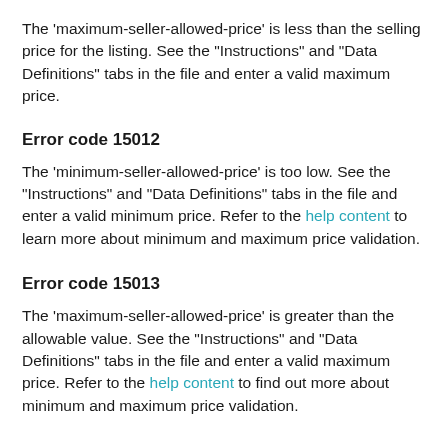The 'maximum-seller-allowed-price' is less than the selling price for the listing. See the "Instructions" and "Data Definitions" tabs in the file and enter a valid maximum price.
Error code 15012
The 'minimum-seller-allowed-price' is too low. See the "Instructions" and "Data Definitions" tabs in the file and enter a valid minimum price. Refer to the help content to learn more about minimum and maximum price validation.
Error code 15013
The 'maximum-seller-allowed-price' is greater than the allowable value. See the "Instructions" and "Data Definitions" tabs in the file and enter a valid maximum price. Refer to the help content to find out more about minimum and maximum price validation.